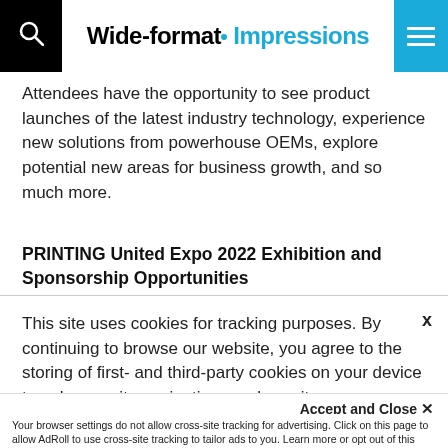Wide-format Impressions
Attendees have the opportunity to see product launches of the latest industry technology, experience new solutions from powerhouse OEMs, explore potential new areas for business growth, and so much more.
PRINTING United Expo 2022 Exhibition and Sponsorship Opportunities
This site uses cookies for tracking purposes. By continuing to browse our website, you agree to the storing of first- and third-party cookies on your device to enhance site navigation, analyze site usage, and assist in our marketing and
Accept and Close ✕
Your browser settings do not allow cross-site tracking for advertising. Click on this page to allow AdRoll to use cross-site tracking to tailor ads to you. Learn more or opt out of this AdRoll tracking by clicking here. This message only appears once.